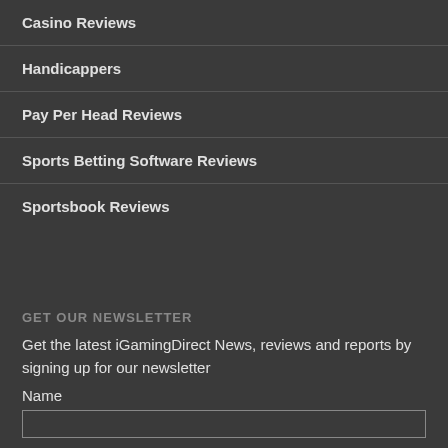Casino Reviews
Handicappers
Pay Per Head Reviews
Sports Betting Software Reviews
Sportsbook Reviews
GET OUR NEWSLETTER
Get the latest iGamingDirect News, reviews and reports by signing up for our newsletter
Name